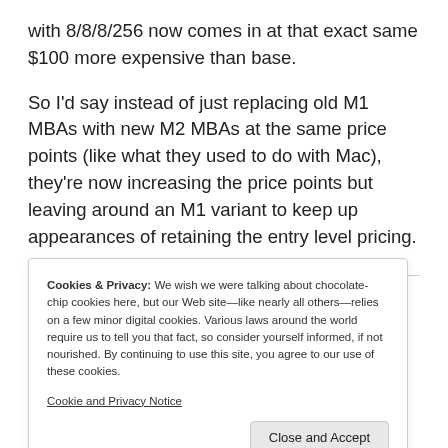with 8/8/8/256 now comes in at that exact same $100 more expensive than base.
So I'd say instead of just replacing old M1 MBAs with new M2 MBAs at the same price points (like what they used to do with Mac), they're now increasing the price points but leaving around an M1 variant to keep up appearances of retaining the entry level pricing.
Cookies & Privacy: We wish we were talking about chocolate-chip cookies here, but our Web site—like nearly all others—relies on a few minor digital cookies. Various laws around the world require us to tell you that fact, so consider yourself informed, if not nourished. By continuing to use this site, you agree to our use of these cookies. Cookie and Privacy Notice [Close and Accept button]
the MBA & MBP is a bit concerning. But if I put my